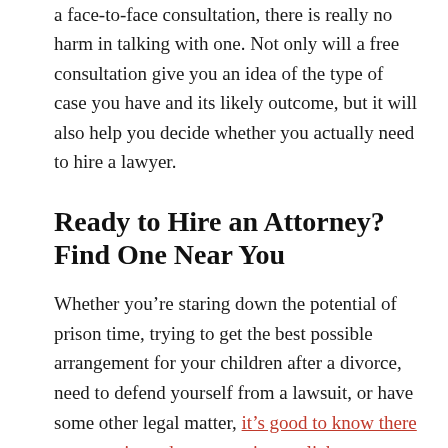a face-to-face consultation, there is really no harm in talking with one. Not only will a free consultation give you an idea of the type of case you have and its likely outcome, but it will also help you decide whether you actually need to hire a lawyer.
Ready to Hire an Attorney? Find One Near You
Whether you're staring down the potential of prison time, trying to get the best possible arrangement for your children after a divorce, need to defend yourself from a lawsuit, or have some other legal matter, it's good to know there are experienced attorneys just a click away. Meet with a qualified, local lawyer near you today to get confidential, personalized answers to